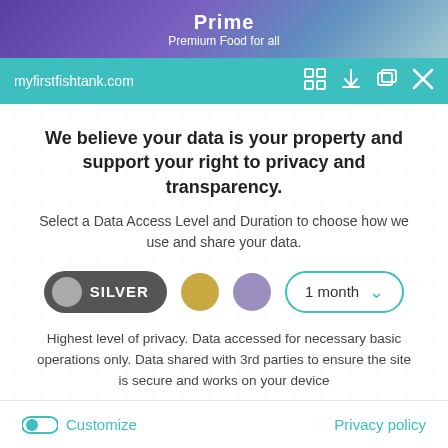[Figure (screenshot): Top portion of a product package showing 'Prime' and 'Premium Food for all' text on purple/teal packaging]
myfirstfishtank.com
We believe your data is your property and support your right to privacy and transparency.
Select a Data Access Level and Duration to choose how we use and share your data.
[Figure (infographic): Privacy controls row: SILVER toggle button (gray), gold circle, purple circle, and '1 month' dropdown selector with teal border]
Highest level of privacy. Data accessed for necessary basic operations only. Data shared with 3rd parties to ensure the site is secure and works on your device
[Figure (infographic): Green 'Save my preferences' button]
Customize
Privacy policy